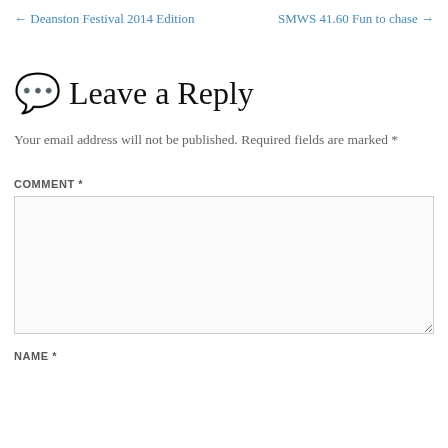← Deanston Festival 2014 Edition    SMWS 41.60 Fun to chase →
Leave a Reply
Your email address will not be published. Required fields are marked *
COMMENT *
NAME *